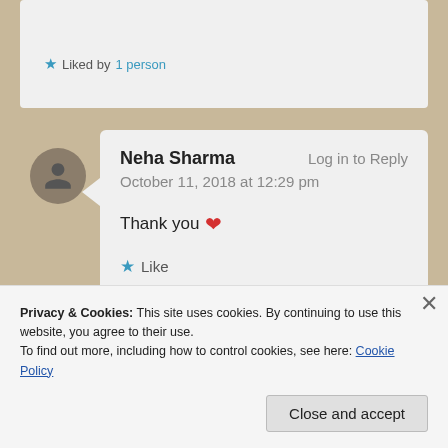Liked by 1 person
Neha Sharma — Log in to Reply
October 11, 2018 at 12:29 pm
Thank you ❤
★ Like
[Figure (screenshot): Partial ad banner strip in red with text partially visible]
REPORT THIS AD
Privacy & Cookies: This site uses cookies. By continuing to use this website, you agree to their use.
To find out more, including how to control cookies, see here: Cookie Policy
Close and accept